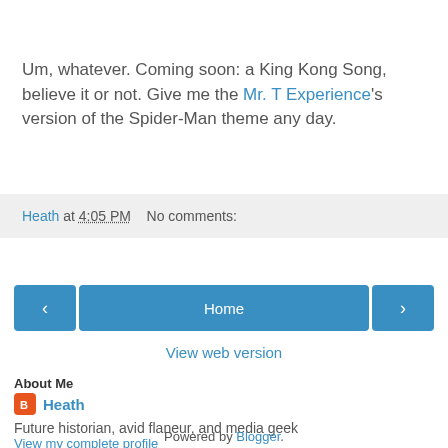Um, whatever. Coming soon: a King Kong Song, believe it or not. Give me the Mr. T Experience's version of the Spider-Man theme any day.
Heath at 4:05 PM   No comments:
‹  Home  ›
View web version
About Me
Heath
Future historian, avid flaneur, and media geek
View my complete profile
Powered by Blogger.